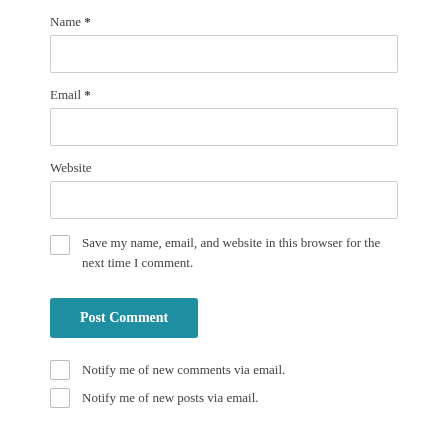Name *
[Figure (other): Text input field for Name]
Email *
[Figure (other): Text input field for Email]
Website
[Figure (other): Text input field for Website]
Save my name, email, and website in this browser for the next time I comment.
Post Comment
Notify me of new comments via email.
Notify me of new posts via email.